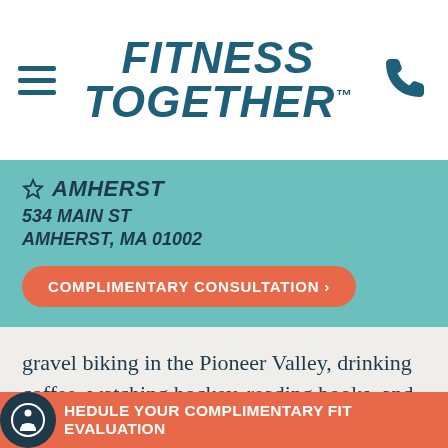FITNESS TOGETHER
AMHERST
534 MAIN ST
AMHERST, MA 01002
COMPLIMENTARY CONSULTATION >
gravel biking in the Pioneer Valley, drinking coffee, watching hockey, reading books, and visiting his family in Vermont. Ryan also works at Marathon Sports, a running specialty shop in Northampton.
SCHEDULE YOUR COMPLIMENTARY FIT EVALUATION